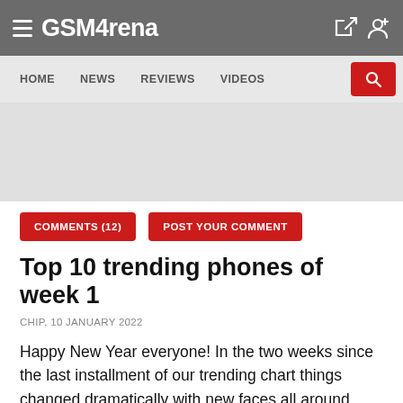GSM Arena
[Figure (screenshot): GSMArena website navigation bar with HOME, NEWS, REVIEWS, VIDEOS links and a red search button]
[Figure (other): Gray advertisement placeholder area]
COMMENTS (12)
POST YOUR COMMENT
Top 10 trending phones of week 1
CHIP, 10 JANUARY 2022
Happy New Year everyone! In the two weeks since the last installment of our trending chart things changed dramatically with new faces all around.